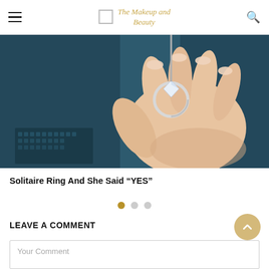The Makeup and Beauty
[Figure (photo): A hand with manicured nails holding a solitaire diamond ring against a dark blue background.]
Solitaire Ring And She Said “YES”
LEAVE A COMMENT
Your Comment